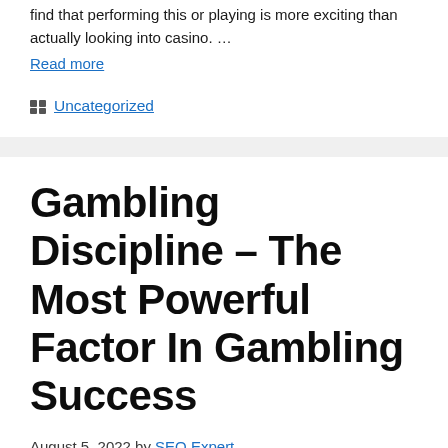find that performing this or playing is more exciting than actually looking into casino. …
Read more
Uncategorized
Gambling Discipline – The Most Powerful Factor In Gambling Success
August 5, 2022 by SEO Expert